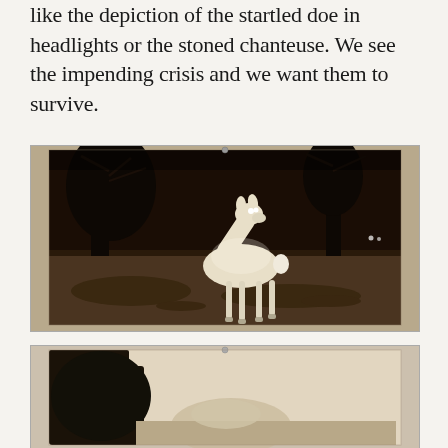like the depiction of the startled doe in headlights or the stoned chanteuse. We see the impending crisis and we want them to survive.
[Figure (photo): Sepia-toned nighttime trail camera photo of a doe (female deer) standing alert in a wooded area, with glowing eyes reflecting the camera flash. The deer is pale/overexposed against a dark background with trees visible. The photo appears to be a physical print displayed on a wall.]
[Figure (photo): Partially visible second photo below, showing what appears to be another trail camera image with a dark foreground object and lighter background, also displayed on a wall.]